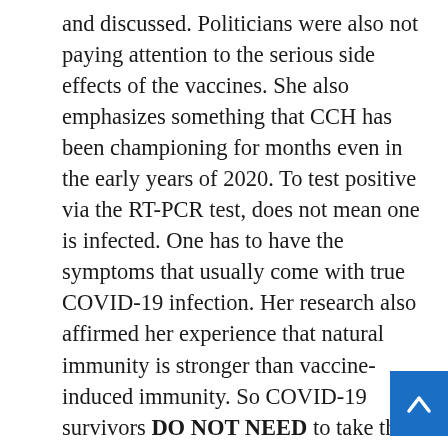and discussed. Politicians were also not paying attention to the serious side effects of the vaccines. She also emphasizes something that CCH has been championing for months even in the early years of 2020. To test positive via the RT-PCR test, does not mean one is infected. One has to have the symptoms that usually come with true COVID-19 infection. Her research also affirmed her experience that natural immunity is stronger than vaccine-induced immunity. So COVID-19 survivors DO NOT NEED to take the vaccines. She then goes on to describe how to strengthen one's immune system.

She places her discussion of AFFIDAVITS within this broader context. An affidavit is basically a story of one's experience with the vaccines. These